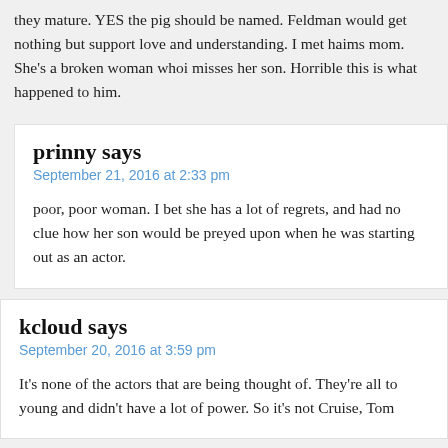they mature. YES the pig should be named. Feldman would get nothing but support love and understanding. I met haims mom. She's a broken woman whoi misses her son. Horrible this is what happened to him.
prinny says
September 21, 2016 at 2:33 pm
poor, poor woman. I bet she has a lot of regrets, and had no clue how her son would be preyed upon when he was starting out as an actor.
kcloud says
September 20, 2016 at 3:59 pm
It's none of the actors that are being thought of. They're all to young and didn't have a lot of power. So it's not Cruise, Tom